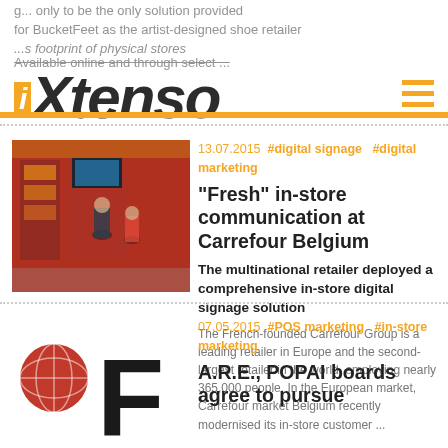iXtenso
g... only to be the only solution provided for BucketFeet as the artist-designed shoe retailer... footprint of physical stores
Available online and through select ...
[Figure (photo): Interior of a Carrefour store showing digital signage displays and shoppers]
13.07.2015 #digital signage #digital marketing
"Fresh" in-store communication at Carrefour Belgium
The multinational retailer deployed a comprehensive in-store digital signage solution
The French-founded Carrefour Group is a leading retailer in Europe and the second-largest retailer in the world, employing nearly 365,000 people. In the European market, Carrefour market Belgium recently modernised its in-store customer ...
[Figure (logo): Logo with large F letter and globe icon, partial view of second article thumbnail]
07.05.2015 #POS marketing #in-store marketing
A.R.E., POPAI boards agree to pursue